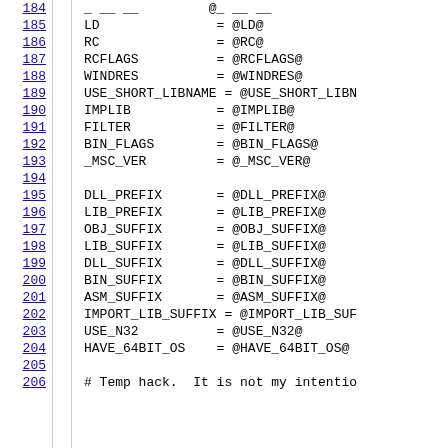184 (truncated line above)
185  LD               = @LD@
186  RC               = @RC@
187  RCFLAGS          = @RCFLAGS@
188  WINDRES          = @WINDRES@
189  USE_SHORT_LIBNAME = @USE_SHORT_LIBNAME@
190  IMPLIB           = @IMPLIB@
191  FILTER           = @FILTER@
192  BIN_FLAGS        = @BIN_FLAGS@
193  _MSC_VER         = @_MSC_VER@
194  (empty)
195  DLL_PREFIX       = @DLL_PREFIX@
196  LIB_PREFIX       = @LIB_PREFIX@
197  OBJ_SUFFIX       = @OBJ_SUFFIX@
198  LIB_SUFFIX       = @LIB_SUFFIX@
199  DLL_SUFFIX       = @DLL_SUFFIX@
200  BIN_SUFFIX       = @BIN_SUFFIX@
201  ASM_SUFFIX       = @ASM_SUFFIX@
202  IMPORT_LIB_SUFFIX = @IMPORT_LIB_SUFFIX@
203  USE_N32          = @USE_N32@
204  HAVE_64BIT_OS    = @HAVE_64BIT_OS@
205  (empty)
206  # Temp hack. It is not my intention